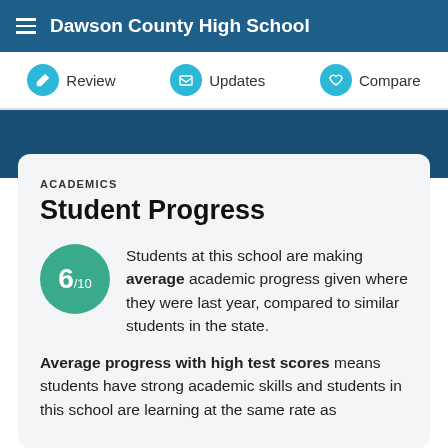Dawson County High School
Review  Updates  Compare
ACADEMICS
Student Progress
6/10 Students at this school are making average academic progress given where they were last year, compared to similar students in the state.
Average progress with high test scores means students have strong academic skills and students in this school are learning at the same rate as